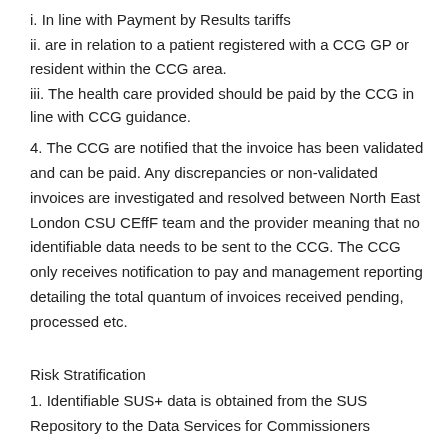i. In line with Payment by Results tariffs
ii. are in relation to a patient registered with a CCG GP or resident within the CCG area.
iii. The health care provided should be paid by the CCG in line with CCG guidance.
4. The CCG are notified that the invoice has been validated and can be paid. Any discrepancies or non-validated invoices are investigated and resolved between North East London CSU CEffF team and the provider meaning that no identifiable data needs to be sent to the CCG. The CCG only receives notification to pay and management reporting detailing the total quantum of invoices received pending, processed etc.
Risk Stratification
1. Identifiable SUS+ data is obtained from the SUS Repository to the Data Services for Commissioners